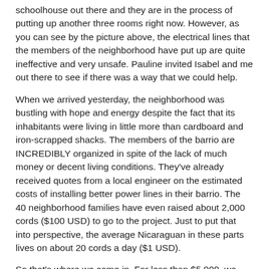schoolhouse out there and they are in the process of putting up another three rooms right now. However, as you can see by the picture above, the electrical lines that the members of the neighborhood have put up are quite ineffective and very unsafe. Pauline invited Isabel and me out there to see if there was a way that we could help.
When we arrived yesterday, the neighborhood was bustling with hope and energy despite the fact that its inhabitants were living in little more than cardboard and iron-scrapped shacks. The members of the barrio are INCREDIBLY organized in spite of the lack of much money or decent living conditions. They've already received quotes from a local engineer on the estimated costs of installing better power lines in their barrio. The 40 neighborhood families have even raised about 2,000 cords ($100 USD) to go to the project. Just to put that into perspective, the average Nicaraguan in these parts lives on about 20 cords a day ($1 USD).
So that's where we come in. For less than $5,000, we can build the six cement posts needed to mount the transformer (provided by the local government) and provide adequate